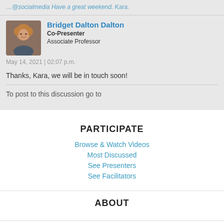...@socialmedia Have a great weekend. Kara.
[Figure (photo): Profile photo of Bridget Dalton Dalton, a woman with short curly blonde hair]
Bridget Dalton Dalton
Co-Presenter
Associate Professor
May 14, 2021 | 02:07 p.m.
Thanks, Kara, we will be in touch soon!
To post to this discussion go to
PARTICIPATE
Browse & Watch Videos
Most Discussed
See Presenters
See Facilitators
ABOUT
About the Showcase
FAQs